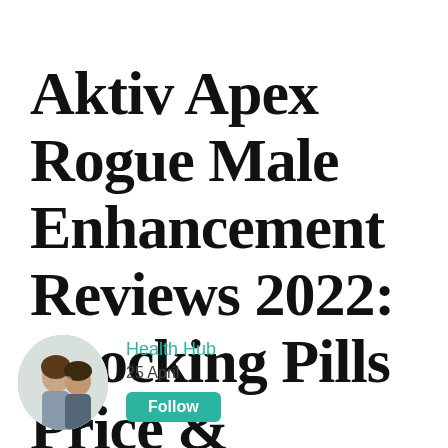Aktiv Apex Rogue Male Enhancement Reviews 2022: Shocking Pills Price & Website Scam!
Health Hub
25 April
Follow